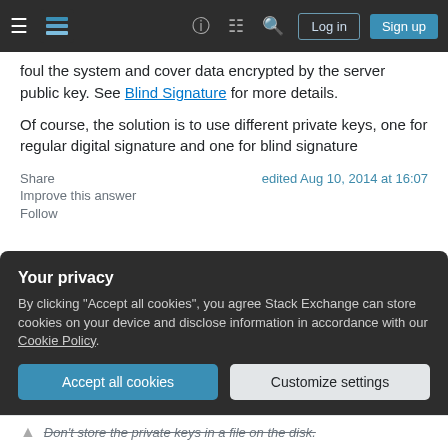Stack Exchange navigation bar with Log in and Sign up buttons
foul the system and cover data encrypted by the server public key. See Blind Signature for more details.

Of course, the solution is to use different private keys, one for regular digital signature and one for blind signature
Share   edited Aug 10, 2014 at 16:07
Improve this answer
Follow
Your privacy
By clicking "Accept all cookies", you agree Stack Exchange can store cookies on your device and disclose information in accordance with our Cookie Policy.
Accept all cookies   Customize settings
Don't store the private keys in a file on the disk.